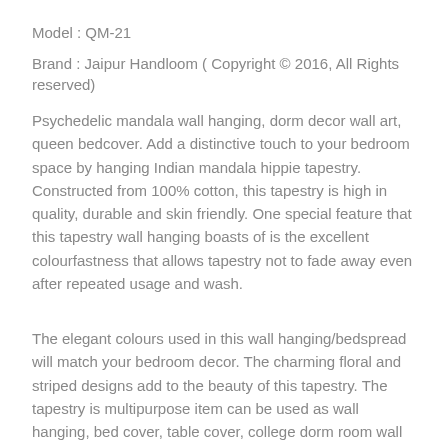Model : QM-21
Brand : Jaipur Handloom ( Copyright © 2016, All Rights reserved)
Psychedelic mandala wall hanging, dorm decor wall art, queen bedcover. Add a distinctive touch to your bedroom space by hanging Indian mandala hippie tapestry. Constructed from 100% cotton, this tapestry is high in quality, durable and skin friendly. One special feature that this tapestry wall hanging boasts of is the excellent colourfastness that allows tapestry not to fade away even after repeated usage and wash.
The elegant colours used in this wall hanging/bedspread  will match your bedroom decor. The charming floral and striped designs add to the beauty of this tapestry. The tapestry is multipurpose item can be used as wall hanging, bed cover, table cover, college dorm room wall hanging etc. The tapestry can be used into college dorm & bedroom.